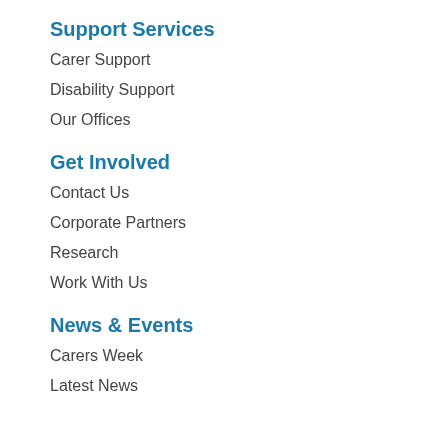Support Services
Carer Support
Disability Support
Our Offices
Get Involved
Contact Us
Corporate Partners
Research
Work With Us
News & Events
Carers Week
Latest News